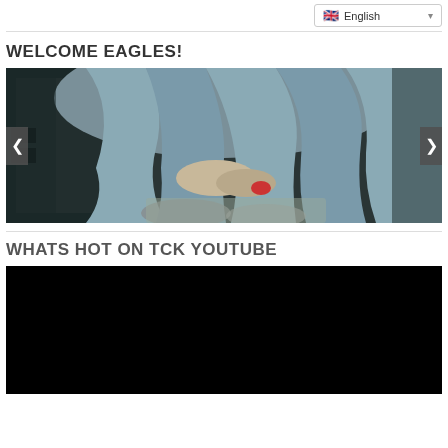English
WELCOME EAGLES!
[Figure (photo): Slideshow image showing robed/draped figures with hands and feet visible, dark moody tone with blue-grey fabric, carousel navigation arrows on left and right]
WHATS HOT ON TCK YOUTUBE
[Figure (screenshot): Embedded YouTube video player area, black background, video not loaded]